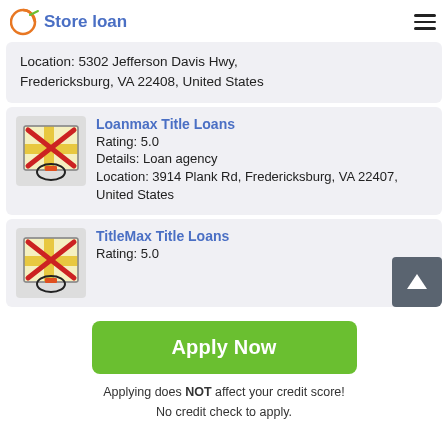Store loan
Location: 5302 Jefferson Davis Hwy, Fredericksburg, VA 22408, United States
[Figure (illustration): Map icon with red X overlay]
Loanmax Title Loans
Rating: 5.0
Details: Loan agency
Location: 3914 Plank Rd, Fredericksburg, VA 22407, United States
[Figure (illustration): Map icon with red X overlay]
TitleMax Title Loans
Rating: 5.0
Apply Now
Applying does NOT affect your credit score!
No credit check to apply.